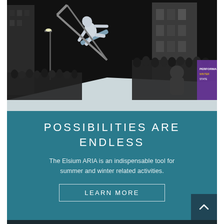[Figure (photo): Night-time urban snowboarding event. A snowboarder performs an aerial trick off a snow ramp on a city street, surrounded by a large crowd of spectators. Buildings visible in background. A purple and yellow banner visible at right edge.]
POSSIBILITIES ARE ENDLESS
The Elsium ARIA is an indispensable tool for summer and winter related activities.
LEARN MORE